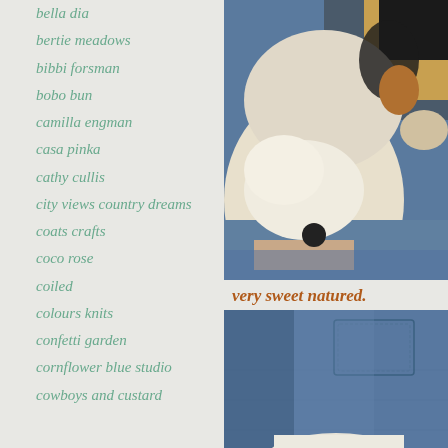bella dia
bertie meadows
bibbi forsman
bobo bun
camilla engman
casa pinka
cathy cullis
city views country dreams
coats crafts
coco rose
coiled
colours knits
confetti garden
cornflower blue studio
cowboys and custard
[Figure (photo): Close-up photo of a beagle or similar dog resting its paw and face on someone's lap, wearing blue jeans. The dog appears to be sleeping or resting, with a tricolor coat (white, black, tan).]
very sweet natured.
[Figure (photo): Close-up photo of blue denim jeans fabric, with a white dog (paw visible at bottom) resting on the lap.]